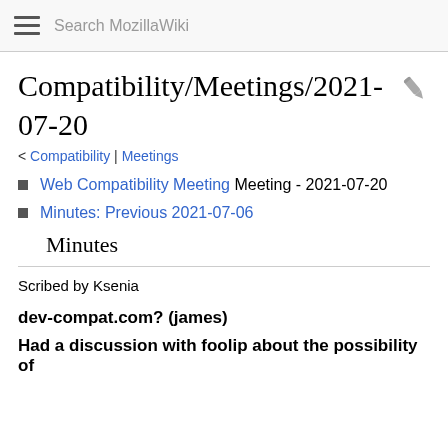Search MozillaWiki
Compatibility/Meetings/2021-07-20
< Compatibility | Meetings
Web Compatibility Meeting Meeting - 2021-07-20
Minutes: Previous 2021-07-06
Minutes
Scribed by Ksenia
dev-compat.com? (james)
Had a discussion with foolip about the possibility of